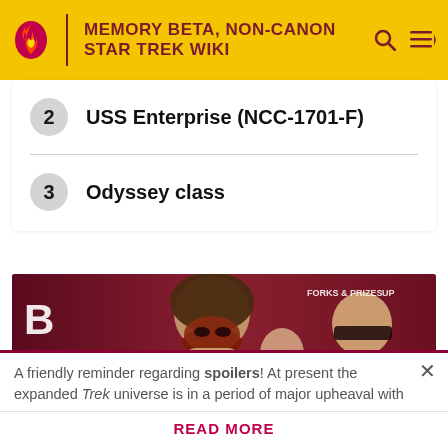MEMORY BETA, NON-CANON STAR TREK WIKI
2  USS Enterprise (NCC-1701-F)
3  Odyssey class
[Figure (photo): Advertisement banner image showing comic book / superhero characters on a dark red background with partial text 'B', 'UCING', 'N LAB', 'FORKS & PRIZES', 'UP']
A friendly reminder regarding spoilers! At present the expanded Trek universe is in a period of major upheaval with
READ MORE